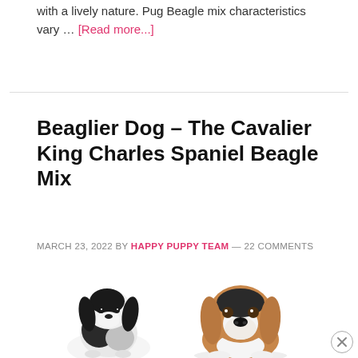with a lively nature. Pug Beagle mix characteristics vary … [Read more...]
Beaglier Dog – The Cavalier King Charles Spaniel Beagle Mix
MARCH 23, 2022 BY HAPPY PUPPY TEAM — 22 COMMENTS
[Figure (photo): Two puppies side by side — a Cavalier King Charles Spaniel puppy on the left (black and white) and a Beagle puppy on the right (brown and white), both on a white background.]